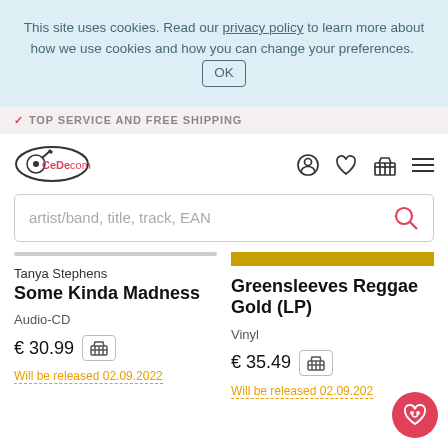This site uses cookies. Read our privacy policy to learn more about how we use cookies and how you can change your preferences. OK
✓ TOP SERVICE AND FREE SHIPPING
[Figure (logo): CeDe.com logo with stylized record/pen icon]
artist/band, title, track, EAN
Tanya Stephens
Some Kinda Madness
Audio-CD
€ 30.99
Will be released 02.09.2022
Greensleeves Reggae Gold (LP)
Vinyl
€ 35.49
Will be released 02.09.2022